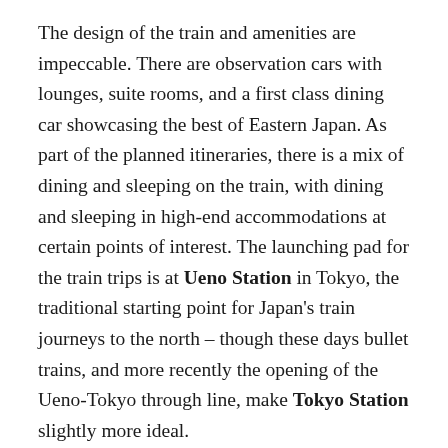The design of the train and amenities are impeccable. There are observation cars with lounges, suite rooms, and a first class dining car showcasing the best of Eastern Japan. As part of the planned itineraries, there is a mix of dining and sleeping on the train, with dining and sleeping in high-end accommodations at certain points of interest. The launching pad for the train trips is at Ueno Station in Tokyo, the traditional starting point for Japan's train journeys to the north – though these days bullet trains, and more recently the opening of the Ueno-Tokyo through line, make Tokyo Station slightly more ideal.
There are two downsides to attempting a trip on the Shiki-Shima. First, the cost: expect to pay anywhere